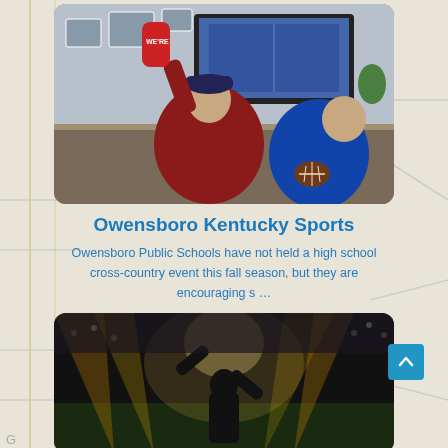[Figure (photo): Two sports fans sitting on a couch watching football on TV. One holds a red foam finger, the other holds a football. Both wearing team jerseys.]
Owensboro Kentucky Sports
Owensboro Public Schools have not held a high school cross-country event this fall season, but they are encouraging s ...
[Figure (photo): A stadium scene with bright spotlights, a person with arms raised in celebration, dramatic lighting.]